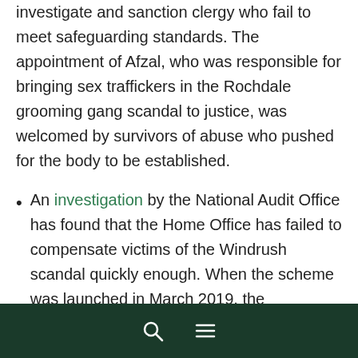investigate and sanction clergy who fail to meet safeguarding standards. The appointment of Afzal, who was responsible for bringing sex traffickers in the Rochdale grooming gang scandal to justice, was welcomed by survivors of abuse who pushed for the body to be established.
An investigation by the National Audit Office has found that the Home Office has failed to compensate victims of the Windrush scandal quickly enough. When the scheme was launched in March 2019, the government estimated that as many as 15,000 applicants might come forward, but only 633 people have received compensation to date. The critical report cites the fears of prospective applicants who feel anxious about submitting personal details to the Home Office, which was originally responsible for classifying them as.
Navigation bar with search and menu icons